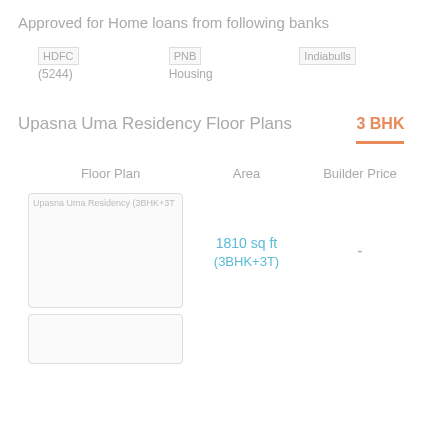Approved for Home loans from following banks
[Figure (logo): HDFC logo placeholder with text HDFC (5244)]
[Figure (logo): PNB Housing logo placeholder]
[Figure (logo): Indiabulls logo placeholder]
Upasna Uma Residency Floor Plans
3 BHK
| Floor Plan | Area | Builder Price |
| --- | --- | --- |
| Upasna Uma Residency (3BHK+3T | 1810 sq ft (3BHK+3T) | - |